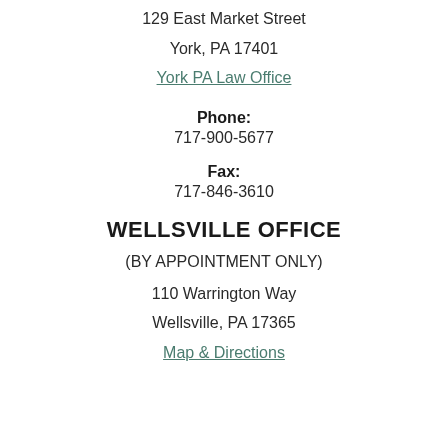129 East Market Street
York, PA 17401
York PA Law Office
Phone:
717-900-5677
Fax:
717-846-3610
WELLSVILLE OFFICE
(BY APPOINTMENT ONLY)
110 Warrington Way
Wellsville, PA 17365
Map & Directions